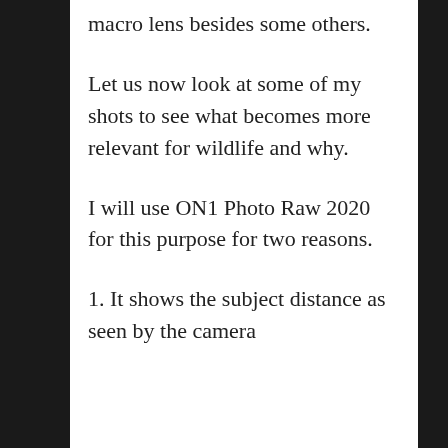macro lens besides some others.
Let us now look at some of my shots to see what becomes more relevant for wildlife and why.
I will use ON1 Photo Raw 2020 for this purpose for two reasons.
1. It shows the subject distance as seen by the camera